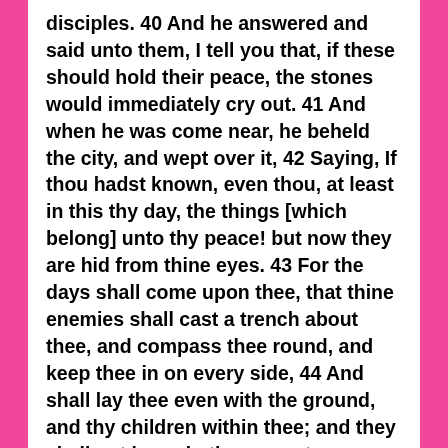disciples. 40 And he answered and said unto them, I tell you that, if these should hold their peace, the stones would immediately cry out. 41 And when he was come near, he beheld the city, and wept over it, 42 Saying, If thou hadst known, even thou, at least in this thy day, the things [which belong] unto thy peace! but now they are hid from thine eyes. 43 For the days shall come upon thee, that thine enemies shall cast a trench about thee, and compass thee round, and keep thee in on every side, 44 And shall lay thee even with the ground, and thy children within thee; and they shall not leave in thee one stone upon another; because thou knewest not the time of thy visitation. 45 And he went into the temple, and began to cast out them that sold therein, and them that bought; 46 Saying unto them, It is written, My house is the house of prayer: but ye have made it a den of thieves. 47 And he taught daily in the temple. But the chief priests and the scribes and the chief of the